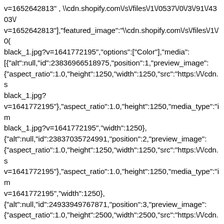v=1652642813", \\cdn.shopify.com\/s\/files\/1\/0537\/0\/3\/91\/4303\/v=1652642813"],["featured_image":"\\cdn.shopify.com\/s\/files\/1\/0(...)black_1.jpg?v=1641772195","options":["Color"],"media":[{"alt":null,"id":23836966518975,"position":1,"preview_image":{"aspect_ratio":1.0,"height":1250,"width":1250,"src":"https:\/\/cdn.s...black_1.jpg?v=1641772195"},"aspect_ratio":1.0,"height":1250,"media_type":"im...black_1.jpg?v=1641772195","width":1250},{"alt":null,"id":23837035724991,"position":2,"preview_image":{"aspect_ratio":1.0,"height":1250,"width":1250,"src":"https:\/\/cdn.s...v=1641772195"},"aspect_ratio":1.0,"height":1250,"media_type":"im...v=1641772195","width":1250},{"alt":null,"id":24933949767871,"position":3,"preview_image":{"aspect_ratio":1.0,"height":2500,"width":2500,"src":"https:\/\/cdn.s...bc58-4907-bc21-e319f01db636.png?v=1652642813"},"aspect_ratio":1.0,"height":2500,"media_type":"im...bc58-4907-bc21-e319f01db636.png?v=1652642813","width":2500},{"alt":null,"id":23837035757759,"position":4,"preview_image":{"aspect_ratio":1.0,"height":1250,"width":1250,"src":"https:\/\/cdn.s...v=1652642813"},"aspect_ratio":1.0,"height":1250,"media_type":"im...v=1652642813","width":1250},{"alt":null,"id":23837035790527,"position":5,"preview_image":{"aspect_ratio":1.0,"height":1250,"width":1250,"src":"https:\/\/cdn.s...v=1652642813"},"aspect_ratio":1.0,"height":1250,"media_type":"im...v=1652642813","width":1250}